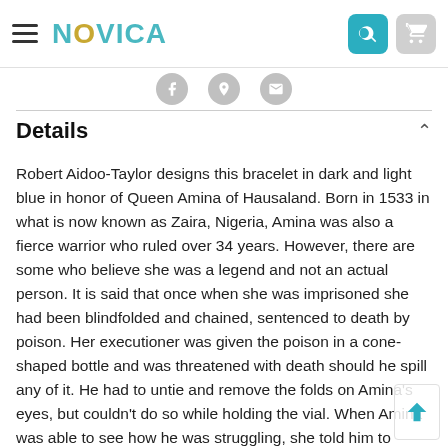NOVICA
Details
Robert Aidoo-Taylor designs this bracelet in dark and light blue in honor of Queen Amina of Hausaland. Born in 1533 in what is now known as Zaira, Nigeria, Amina was also a fierce warrior who ruled over 34 years. However, there are some who believe she was a legend and not an actual person. It is said that once when she was imprisoned she had been blindfolded and chained, sentenced to death by poison. Her executioner was given the poison in a cone-shaped bottle and was threatened with death should he spill any of it. He had to untie and remove the folds on Amina's eyes, but couldn't do so while holding the vial. When Amina was able to see how he was struggling, she told him to remove one of her bracelets and use it as a stand for the cone-shaped bottle. Upon realizing she had just saved his life, the executioner decided to